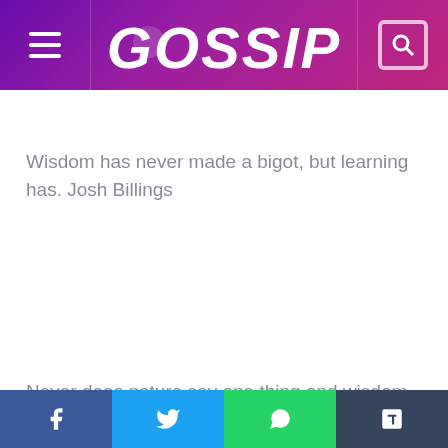GOSSIP
Wisdom has never made a bigot, but learning has. Josh Billings
Never does nature say one thing and wisdom another. Juvenal
The wisest of the wise may err. Aeschylus
Knowledge is marvelous, but wisdom is even better. Kay
Facebook | Twitter | WhatsApp | Tumblr